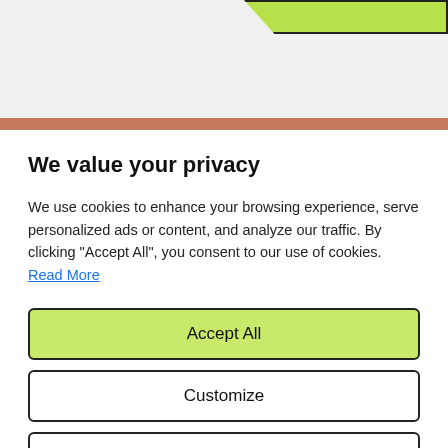[Figure (screenshot): Top portion of a webpage with a light gray background and a green banner/shape element in the upper right corner, partially visible.]
We value your privacy
We use cookies to enhance your browsing experience, serve personalized ads or content, and analyze our traffic. By clicking "Accept All", you consent to our use of cookies. Read More
Accept All
Customize
Reject All